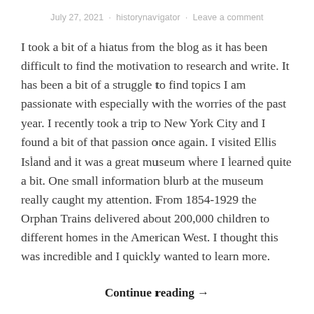July 27, 2021 · historynavigator · Leave a comment
I took a bit of a hiatus from the blog as it has been difficult to find the motivation to research and write. It has been a bit of a struggle to find topics I am passionate with especially with the worries of the past year. I recently took a trip to New York City and I found a bit of that passion once again. I visited Ellis Island and it was a great museum where I learned quite a bit. One small information blurb at the museum really caught my attention. From 1854-1929 the Orphan Trains delivered about 200,000 children to different homes in the American West. I thought this was incredible and I quickly wanted to learn more.
Continue reading →